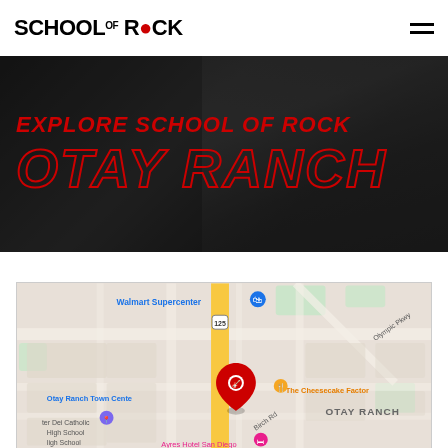SCHOOL OF ROCK
EXPLORE SCHOOL OF ROCK
OTAY RANCH
[Figure (map): Google Maps view showing School of Rock Otay Ranch location near Otay Ranch Town Center, with Walmart Supercenter to the north, The Cheesecake Factory to the east, Mater Dei Catholic High School to the southwest, and Ayres Hotel San Diego at the bottom. Route 125 runs vertically through the map.]